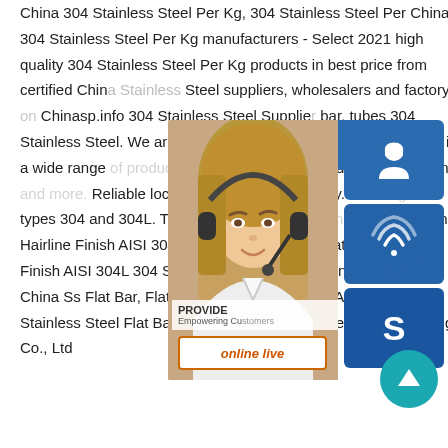China 304 Stainless Steel Per Kg, 304 Stainless Steel Per China 304 Stainless Steel Per Kg manufacturers - Select 2021 high quality 304 Stainless Steel Per Kg products in best price from certified China Stainless Steel suppliers, wholesalers and factory on Chinasp.info 304 Stainless Steel Supplier bar, tubes 304 Stainless Steel. We are s and 304L Stainless Steel in a wide range sheet, plate, angle and seamless tubing. Reliable local and nationwide delivery. St types 304 and 304L. Type 304 is the mo sp.info China Hairline Finish AISI 304L 304 Stainless Steel Flat China Hairline Finish AISI 304L 304 Stainless Steel Flat Bar, Find details about China Ss Flat Bar, Flat Bar from Hairline Finish AISI 304L 304 Stainless Steel Flat Bar - Wuxi City Ge Ming Sheng Steel Trading Co., Ltd
[Figure (screenshot): Customer service overlay panel with a woman wearing a headset, three blue icon buttons (headset/chat, phone, Skype), a 24/7 label, PROVIDE/Empowering Customers text, online live button, and a teal scroll-to-top circular button]